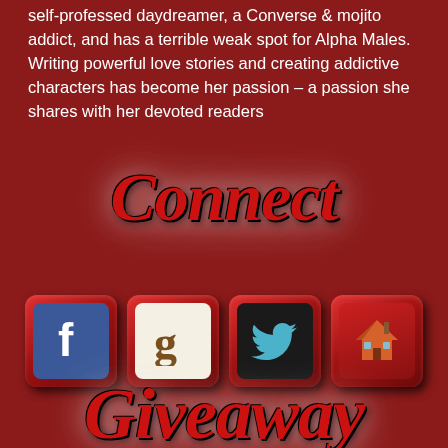self-professed daydreamer, a Converse & mojito addict, and has a terrible weak spot for Alpha Males. Writing powerful love stories and creating addictive characters has become her passion – a passion she shares with her devoted readers
[Figure (illustration): Decorative 'Connect' text in red italic script with glowing white halo effect on dark red background]
[Figure (infographic): Four social media icon buttons with red 3D key-cap frames: Facebook (blue), Goodreads (beige), Twitter (dark), and a house/home icon (red)]
[Figure (illustration): Decorative 'Giveaway' text in red italic script with glowing white halo effect on dark red background, partially visible at bottom]